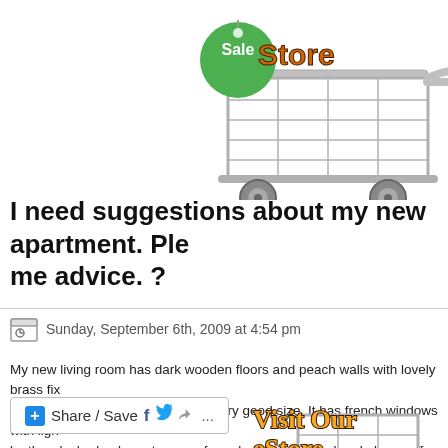[Figure (illustration): Shopping cart with 'Sale' green tag label at top right, partially cropped at top of page]
I need suggestions about my new apartment. Please give me advice. ?
Sunday, September 6th, 2009 at 4:54 pm
My new living room has dark wooden floors and peach walls with lovely brass fix... apartment but the living room is a very good size. It has french windows with ligh... leather daybed, a huge taupe sofa, a dark brown wood and glass coffee table, h...
[Figure (illustration): Share/Save social sharing button bar with Facebook, Twitter, and forward icons]
[Figure (illustration): Shopping cart with 'Visit Our eStore' text, partially cropped at bottom of page]